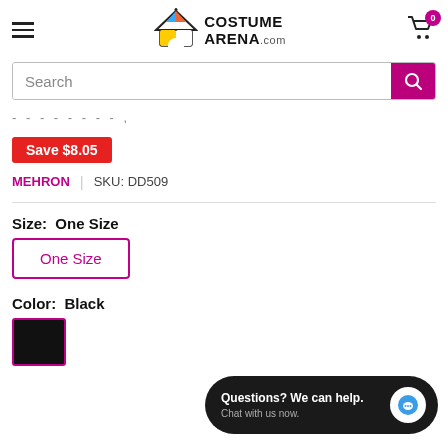[Figure (logo): Costume Arena logo with colorful tent icon and text COSTUME ARENA.com]
Search
- - - - - - - - ,
Save $8.05
MEHRON  |  SKU: DD509
Size:  One Size
One Size
Color:  Black
Questions? We can help.
Chat with us now.